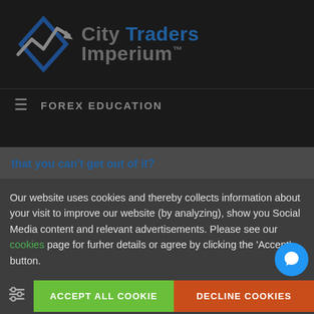[Figure (logo): City Traders Imperium logo with diamond/arrow graphic and text]
FOREX EDUCATION
that you can't get out of it?
Our website uses cookies and thereby collects information about your visit to improve our website (by analyzing), show you Social Media content and relevant advertisements. Please see our cookies page for furher details or agree by clicking the 'Accept' button.
ACCEPT ALL COOKIES | DECLINE COOKIES